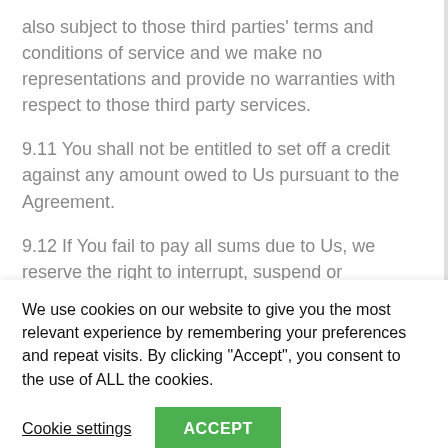also subject to those third parties' terms and conditions of service and we make no representations and provide no warranties with respect to those third party services.
9.11 You shall not be entitled to set off a credit against any amount owed to Us pursuant to the Agreement.
9.12 If You fail to pay all sums due to Us, we reserve the right to interrupt, suspend or
We use cookies on our website to give you the most relevant experience by remembering your preferences and repeat visits. By clicking “Accept”, you consent to the use of ALL the cookies.
Cookie settings
ACCEPT